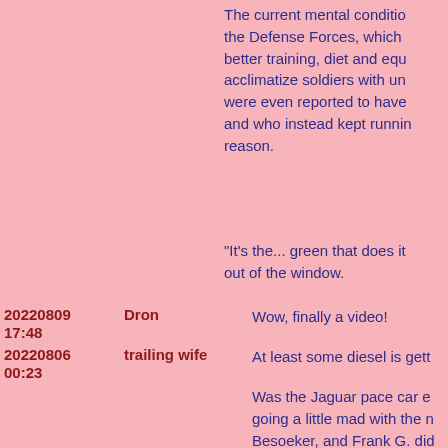The current mental condition the Defense Forces, which better training, diet and equip acclimatize soldiers with ur were even reported to have and who instead kept runni reason.
"It's the... green that does i out of the window.
| date/time | username | message |
| --- | --- | --- |
| 20220809 17:48 | Dron | Wow, finally a video! |
| 20220806 00:23 | trailing wife | At least some diesel is gett |
|  |  | Was the Jaguar pace car e going a little mad with the r Besoeker, and Frank G. dic |
| 20220805 09:20 | Dale | https://www.breitbart.com/t pace-car-catches-on-fire-w |
| 20220805 02:03 | badanov | A light rifle task force forme Light Rifle Brigade, was orc force which took over the v night. |